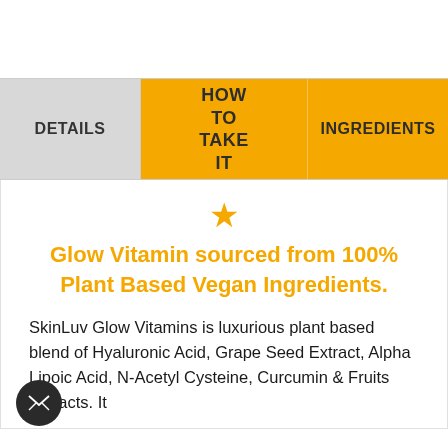DETAILS | HOW TO TAKE IT | INGREDIENTS
[Figure (illustration): Orange star icon]
Glow Vitamin sourced from 100% Plant Based Vegan Ingredients.
SkinLuv Glow Vitamins is luxurious plant based blend of Hyaluronic Acid, Grape Seed Extract, Alpha Lipoic Acid, N-Acetyl Cysteine, Curcumin & Fruits Extracts. It